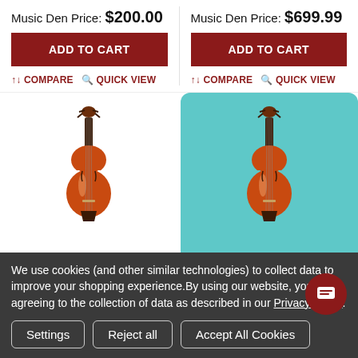Music Den Price: $200.00
Music Den Price: $699.99
ADD TO CART
ADD TO CART
↑↓ COMPARE   🔍 QUICK VIEW
↑↓ COMPARE   🔍 QUICK VIEW
[Figure (photo): Violin on white background, left product]
[Figure (photo): Violin on teal/turquoise background, right product]
We use cookies (and other similar technologies) to collect data to improve your shopping experience.By using our website, you're agreeing to the collection of data as described in our Privacy Policy.
Settings
Reject all
Accept All Cookies